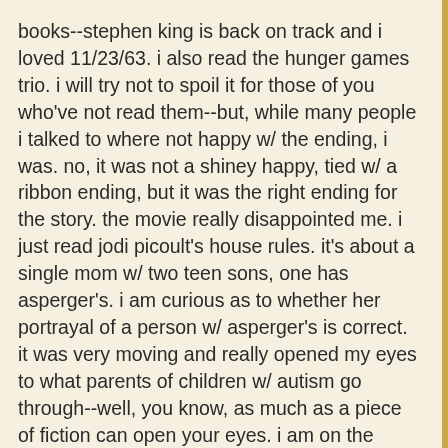books--stephen king is back on track and i loved 11/23/63. i also read the hunger games trio. i will try not to spoil it for those of you who've not read them--but, while many people i talked to where not happy w/ the ending, i was. no, it was not a shiney happy, tied w/ a ribbon ending, but it was the right ending for the story. the movie really disappointed me. i just read jodi picoult's house rules. it's about a single mom w/ two teen sons, one has asperger's. i am curious as to whether her portrayal of a person w/ asperger's is correct. it was very moving and really opened my eyes to what parents of children w/ autism go through--well, you know, as much as a piece of fiction can open your eyes. i am on the lookout for something new to read.
movies--extremely loud and incredibly close. i loved just about everything about this movie. i love the characters and the actors who portrayed them. i love the dialogue and the story and how the story unfolds. yes, it is heartbreaking, but, there is also good to it. the rum diaries--though johnny is in it and i am increasingly obsessed with him (more on that later) i didn't love that movie. it might be because while the girl and